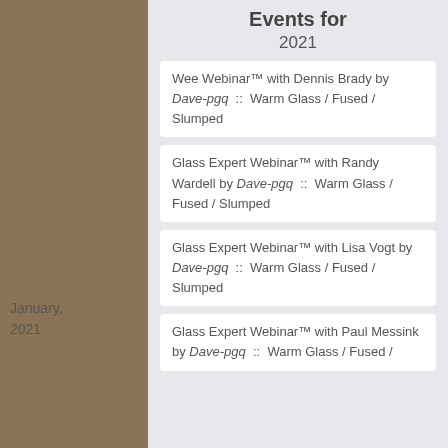Events for
2021
Wee Webinar™ with Dennis Brady by Dave-pgq :: Warm Glass / Fused / Slumped
Glass Expert Webinar™ with Randy Wardell by Dave-pgq :: Warm Glass / Fused / Slumped
January, 2021
Glass Expert Webinar™ with Lisa Vogt by Dave-pgq :: Warm Glass / Fused / Slumped
Glass Expert Webinar™ with Paul Messink by Dave-pgq :: Warm Glass / Fused /